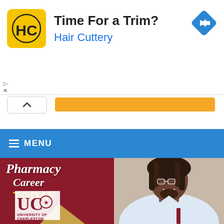[Figure (screenshot): Hair Cuttery advertisement banner with logo showing 'HC' in yellow square, text 'Time For a Trim?' in bold black and 'Hair Cuttery' in blue, with a navigation diamond icon on the right, ad controls (play/close), orange progress bar, and chevron expand button.]
[Figure (screenshot): Blue navigation menu bar with hamburger icon and 'MENU' text in white.]
[Figure (screenshot): University of Charleston pharmacy career advertisement showing text 'Pharmacy Career TODAY' in white/gold italic serif font over dark maroon background with gold triangle, UC logo, and a smiling man with dreadlocks and glasses wearing a white coat.]